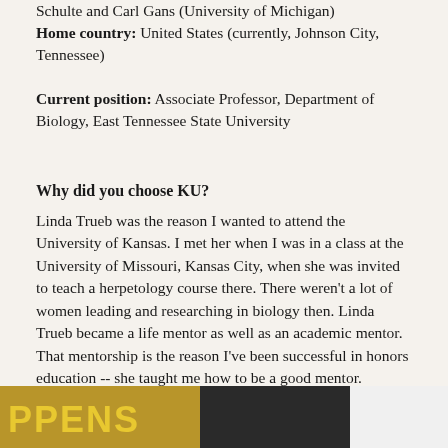Schulte and Carl Gans (University of Michigan)
Home country: United States (currently, Johnson City, Tennessee)
Current position: Associate Professor, Department of Biology, East Tennessee State University
Why did you choose KU?
Linda Trueb was the reason I wanted to attend the University of Kansas. I met her when I was in a class at the University of Missouri, Kansas City, when she was invited to teach a herpetology course there. There weren't a lot of women leading and researching in biology then. Linda Trueb became a life mentor as well as an academic mentor. That mentorship is the reason I've been successful in honors education -- she taught me how to be a good mentor.
[Figure (photo): Partial image at bottom of page showing what appears to be a sign with letters visible, yellow/gold colored text on dark background]